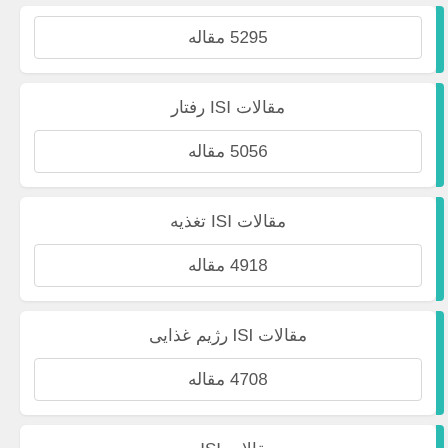5295 مقاله
مقالات ISI رفتار
5056 مقاله
مقالات ISI تغذیه
4918 مقاله
مقالات ISI رژیم غذایی
4708 مقاله
مقالات ISI ...